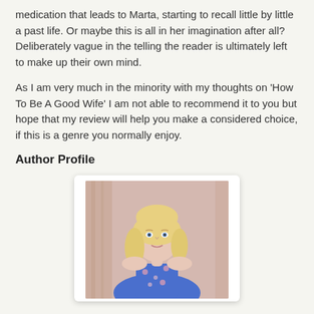medication that leads to Marta, starting to recall little by little a past life. Or maybe this is all in her imagination after all? Deliberately vague in the telling the reader is ultimately left to make up their own mind.
As I am very much in the minority with my thoughts on 'How To Be A Good Wife' I am not able to recommend it to you but hope that my review will help you make a considered choice, if this is a genre you normally enjoy.
Author Profile
[Figure (photo): Portrait photo of a young blonde woman in a blue floral dress, standing in front of a light pink curtain background, looking slightly to the side.]